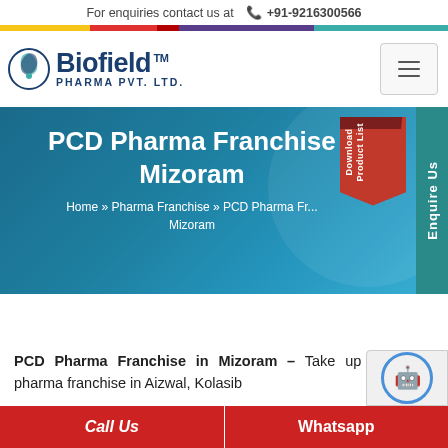For enquiries contact us at  +91-9216300566
[Figure (logo): Biofield Pharma Pvt. Ltd. logo with leaf icon and TM mark]
PCD Pharma Franchise Mizoram
Home » Pharma Franchise » PCD Pharma Franchise Mizoram
[Figure (infographic): Download Product List tag graphic (red bookmark shape)]
[Figure (infographic): Enquire Us vertical side tab in teal]
PCD Pharma Franchise in Mizoram – Take up monopoly pharma franchise in Aizwal, Kolasib
Call Us   Whatsapp